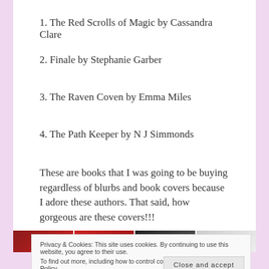1. The Red Scrolls of Magic by Cassandra Clare
2. Finale by Stephanie Garber
3. The Raven Coven by Emma Miles
4. The Path Keeper by N J Simmonds
These are books that I was going to be buying regardless of blurbs and book covers because I adore these authors. That said, how gorgeous are these covers!!!
Privacy & Cookies: This site uses cookies. By continuing to use this website, you agree to their use.
To find out more, including how to control cookies, see here: Cookie Policy
[Figure (photo): Four book covers shown at the bottom of the page including The Red Scrolls of Magic, Finale, The Raven Coven, and The Path Keeper]